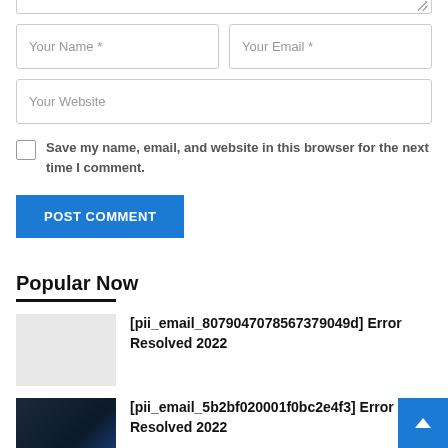[Figure (screenshot): Web comment form with textarea (bottom edge visible), Name and Email input fields, Website input field, save-my-info checkbox with label, and POST COMMENT button]
Popular Now
[pii_email_8079047078567379049d] Error Resolved 2022
[pii_email_5b2bf020001f0bc2e4f3] Error Resolved 2022